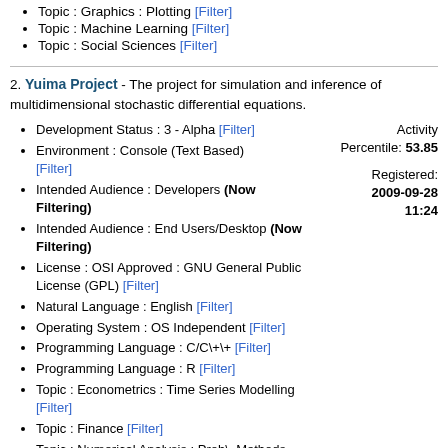Topic : Graphics : Plotting [Filter]
Topic : Machine Learning [Filter]
Topic : Social Sciences [Filter]
2. Yuima Project - The project for simulation and inference of multidimensional stochastic differential equations.
Development Status : 3 - Alpha [Filter]
Environment : Console (Text Based) [Filter]
Intended Audience : Developers (Now Filtering)
Intended Audience : End Users/Desktop (Now Filtering)
License : OSI Approved : GNU General Public License (GPL) [Filter]
Natural Language : English [Filter]
Operating System : OS Independent [Filter]
Programming Language : C/C\+\+ [Filter]
Programming Language : R [Filter]
Topic : Econometrics : Time Series Modelling [Filter]
Topic : Finance [Filter]
Topic : Numerical Analysis : Prob\. Methods, Simulation and Stochastic Differential Equations [Filter]
Activity Percentile: 53.85
Registered: 2009-09-28 11:24